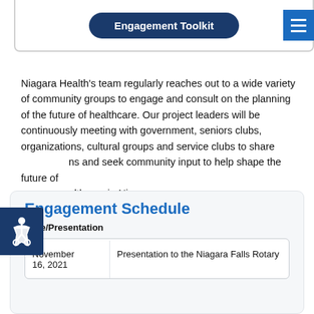[Figure (screenshot): Engagement Toolkit button inside a bordered rounded box at the top of the page]
Niagara Health's team regularly reaches out to a wide variety of community groups to engage and consult on the planning of the future of healthcare. Our project leaders will be continuously meeting with government, seniors clubs, organizations, cultural groups and service clubs to share plans and seek community input to help shape the future of healthcare in Niagara.
Engagement Schedule
| Date/Presentation |  |
| --- | --- |
| November 16, 2021 | Presentation to the Niagara Falls Rotary |